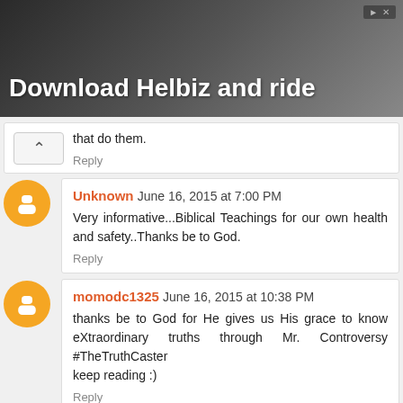[Figure (photo): Advertisement banner: person on scooter/bike, text 'Download Helbiz and ride' in white bold font on dark background]
that do them.
Reply
Unknown June 16, 2015 at 7:00 PM
Very informative...Biblical Teachings for our own health and safety..Thanks be to God.
Reply
momodc1325 June 16, 2015 at 10:38 PM
thanks be to God for He gives us His grace to know eXtraordinary truths through Mr. Controversy #TheTruthCaster
keep reading :)
Reply